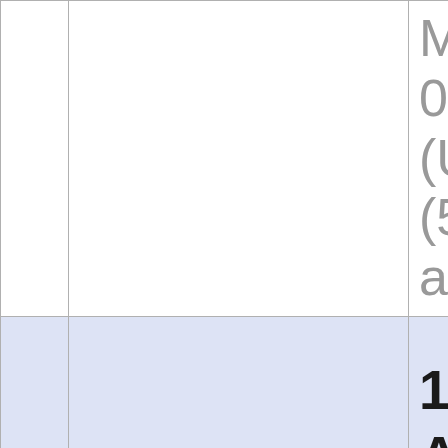|  |  | M_4828_01WP_0(U_S)40(512M x ash D |
|  |  | 1 Gbit (1AND Fla1 H27U |